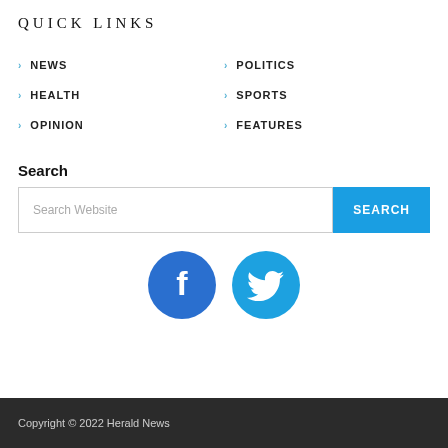QUICK LINKS
NEWS
POLITICS
HEALTH
SPORTS
OPINION
FEATURES
Search
[Figure (other): Search input field with placeholder 'Search Website' and a blue SEARCH button]
[Figure (other): Facebook and Twitter social media icon circles in blue]
Copyright © 2022 Herald News